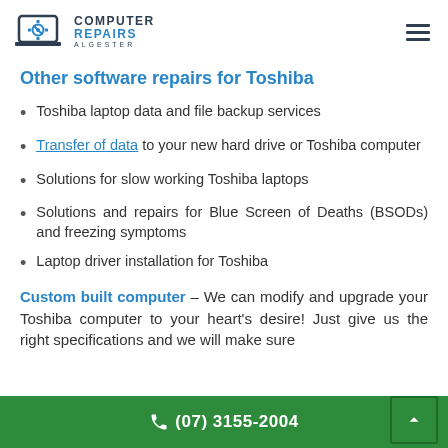[Figure (logo): Computer Repairs Algester logo with gear/laptop icon and company name]
Other software repairs for Toshiba
Toshiba laptop data and file backup services
Transfer of data to your new hard drive or Toshiba computer
Solutions for slow working Toshiba laptops
Solutions and repairs for Blue Screen of Deaths (BSODs) and freezing symptoms
Laptop driver installation for Toshiba
Custom built computer – We can modify and upgrade your Toshiba computer to your heart's desire! Just give us the right specifications and we will make sure
(07) 3155-2004